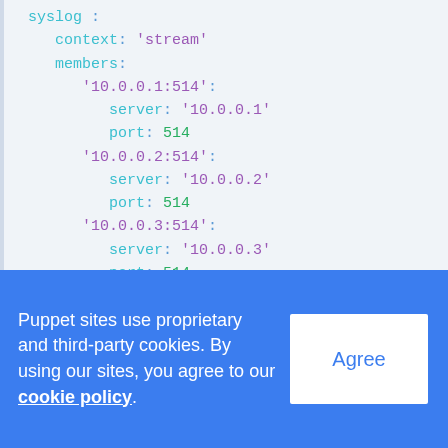syslog :
  context: 'stream'
  members:
    '10.0.0.1:514':
      server: '10.0.0.1'
      port: 514
    '10.0.0.2:514':
      server: '10.0.0.2'
      port: 514
    '10.0.0.3:514':
      server: '10.0.0.3'
      port: 514
Puppet sites use proprietary and third-party cookies. By using our sites, you agree to our cookie policy.